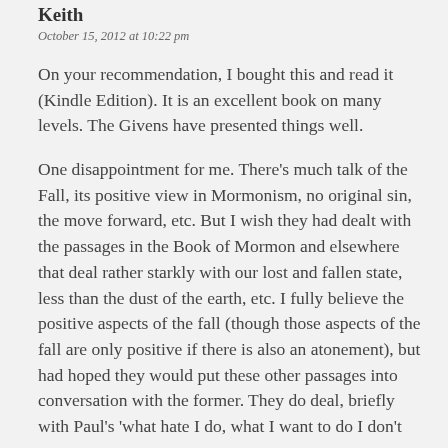Keith
October 15, 2012 at 10:22 pm
On your recommendation, I bought this and read it (Kindle Edition). It is an excellent book on many levels. The Givens have presented things well.
One disappointment for me. There's much talk of the Fall, its positive view in Mormonism, no original sin, the move forward, etc. But I wish they had dealt with the passages in the Book of Mormon and elsewhere that deal rather starkly with our lost and fallen state, less than the dust of the earth, etc. I fully believe the positive aspects of the fall (though those aspects of the fall are only positive if there is also an atonement), but had hoped they would put these other passages into conversation with the former. They do deal, briefly with Paul's 'what hate I do, what I want to do I don't